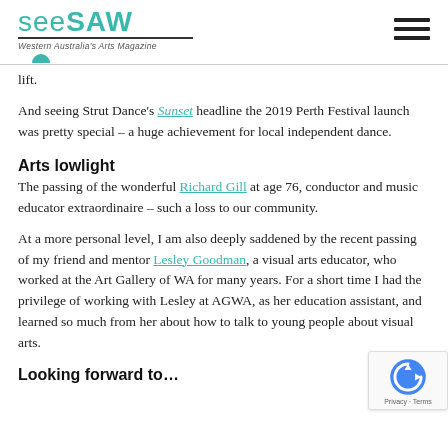[Figure (logo): Seesaw magazine logo with teal text 'see' and 'saw', tagline 'Western Australia's Arts Magazine', teal semicircle accent]
lift.
And seeing Strut Dance's Sunset headline the 2019 Perth Festival launch was pretty special – a huge achievement for local independent dance.
Arts lowlight
The passing of the wonderful Richard Gill at age 76, conductor and music educator extraordinaire – such a loss to our community.
At a more personal level, I am also deeply saddened by the recent passing of my friend and mentor Lesley Goodman, a visual arts educator, who worked at the Art Gallery of WA for many years. For a short time I had the privilege of working with Lesley at AGWA, as her education assistant, and learned so much from her about how to talk to young people about visual arts.
Looking forward to…